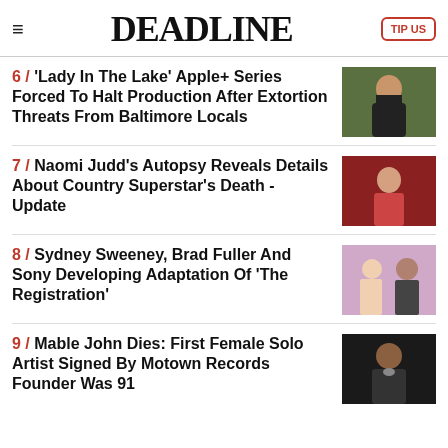DEADLINE
6 / 'Lady In The Lake' Apple+ Series Forced To Halt Production After Extortion Threats From Baltimore Locals
7 / Naomi Judd's Autopsy Reveals Details About Country Superstar's Death - Update
8 / Sydney Sweeney, Brad Fuller And Sony Developing Adaptation Of 'The Registration'
9 / Mable John Dies: First Female Solo Artist Signed By Motown Records Founder Was 91